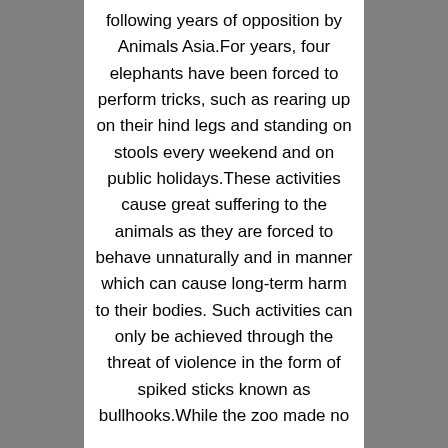following years of opposition by Animals Asia.For years, four elephants have been forced to perform tricks, such as rearing up on their hind legs and standing on stools every weekend and on public holidays.These activities cause great suffering to the animals as they are forced to behave unnaturally and in manner which can cause long-term harm to their bodies. Such activities can only be achieved through the threat of violence in the form of spiked sticks known as bullhooks.While the zoo made no